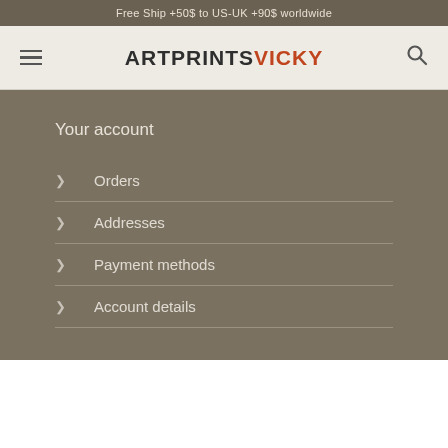Free Ship +50$ to US-UK +90$ worldwide
[Figure (logo): ArtPrintsVicky logo with hamburger menu and search icon]
Your account
Orders
Addresses
Payment methods
Account details